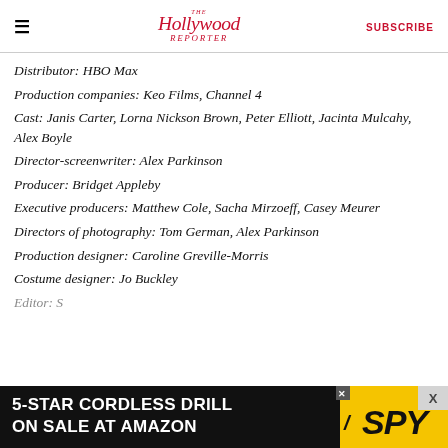The Hollywood Reporter | SUBSCRIBE
Distributor: HBO Max
Production companies: Keo Films, Channel 4
Cast: Janis Carter, Lorna Nickson Brown, Peter Elliott, Jacinta Mulcahy, Alex Boyle
Director-screenwriter: Alex Parkinson
Producer: Bridget Appleby
Executive producers: Matthew Cole, Sacha Mirzoeff, Casey Meurer
Directors of photography: Tom German, Alex Parkinson
Production designer: Caroline Greville-Morris
Costume designer: Jo Buckley
Editor: S...
[Figure (other): Advertisement banner: 5-STAR CORDLESS DRILL ON SALE AT AMAZON with SPY logo on yellow background]